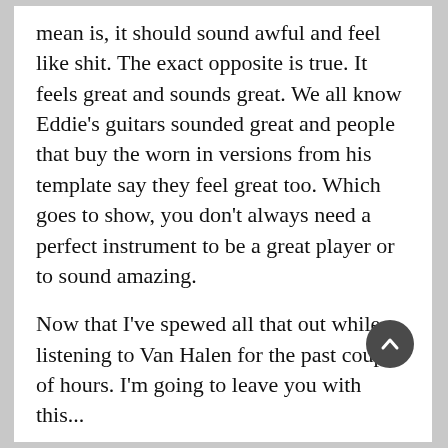mean is, it should sound awful and feel like shit. The exact opposite is true. It feels great and sounds great. We all know Eddie's guitars sounded great and people that buy the worn in versions from his template say they feel great too. Which goes to show, you don't always need a perfect instrument to be a great player or to sound amazing.
Now that I've spewed all that out while listening to Van Halen for the past couple of hours. I'm going to leave you with this...